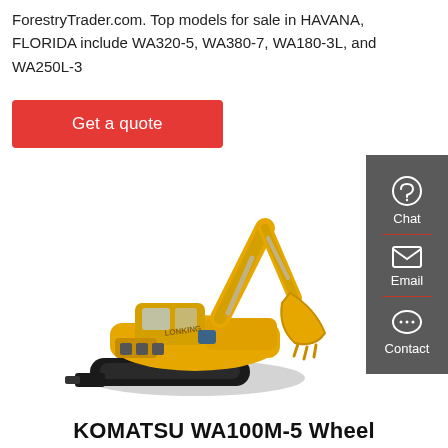ForestryTrader.com. Top models for sale in HAVANA, FLORIDA include WA320-5, WA380-7, WA180-3L, and WA250L-3
Get a quote
[Figure (photo): Yellow Komatsu/Longking excavator on white background, tracked, with raised arm and bucket]
KOMATSU WA100M-5 Wheel